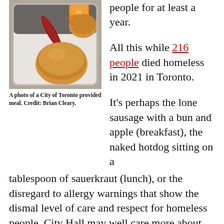[Figure (photo): A photo of a tray with a sausage, a bun, and an apple – a City of Toronto provided meal.]
A photo of a City of Toronto provided meal. Credit: Brian Cleary.
people for at least a year.
All this while 216 people died homeless in 2021 in Toronto.
It’s perhaps the lone sausage with a bun and apple (breakfast), the naked hotdog sitting on a tablespoon of sauerkraut (lunch), or the disregard to allergy warnings that show the dismal level of care and respect for homeless people. City Hall may well care more about potholes.
This is food that would never have been provided to